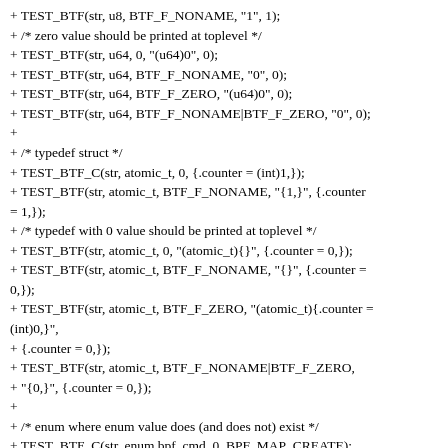+ TEST_BTF(str, u8, BTF_F_NONAME, "1", 1);
+ /* zero value should be printed at toplevel */
+ TEST_BTF(str, u64, 0, "(u64)0", 0);
+ TEST_BTF(str, u64, BTF_F_NONAME, "0", 0);
+ TEST_BTF(str, u64, BTF_F_ZERO, "(u64)0", 0);
+ TEST_BTF(str, u64, BTF_F_NONAME|BTF_F_ZERO, "0", 0);
+
+ /* typedef struct */
+ TEST_BTF_C(str, atomic_t, 0, {.counter = (int)1,});
+ TEST_BTF(str, atomic_t, BTF_F_NONAME, "{1,}", {.counter = 1,});
+ /* typedef with 0 value should be printed at toplevel */
+ TEST_BTF(str, atomic_t, 0, "(atomic_t){}", {.counter = 0,});
+ TEST_BTF(str, atomic_t, BTF_F_NONAME, "{}", {.counter = 0,});
+ TEST_BTF(str, atomic_t, BTF_F_ZERO, "(atomic_t){.counter = (int)0,}",
+ {.counter = 0,});
+ TEST_BTF(str, atomic_t, BTF_F_NONAME|BTF_F_ZERO,
+ "{0,}", {.counter = 0,});
+
+ /* enum where enum value does (and does not) exist */
+ TEST_BTF_C(str, enum bpf_cmd, 0, BPF_MAP_CREATE);
+ TEST_BTF(str, enum bpf_cmd, 0, "(enum bpf_cmd)BPF_MAP_CREATE", 0);
+ TEST_BTF(str, enum bpf_cmd, BTF_F_NONAME,